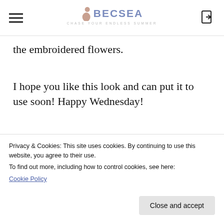BECSEA – CHASE YOUR ENDLESS SUMMER
the embroidered flowers.
I hope you like this look and can put it to use soon! Happy Wednesday!
[Figure (photo): Outdoor winter photo showing sky and a person wearing a dark colored hat, partially visible]
Privacy & Cookies: This site uses cookies. By continuing to use this website, you agree to their use. To find out more, including how to control cookies, see here: Cookie Policy
Close and accept